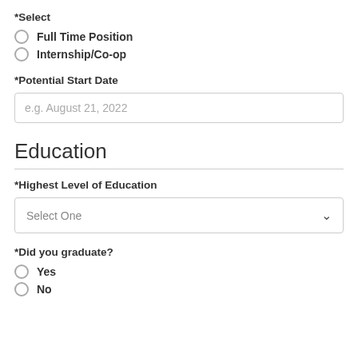*Select
Full Time Position
Internship/Co-op
*Potential Start Date
e.g. August 21, 2022
Education
*Highest Level of Education
Select One
*Did you graduate?
Yes
No